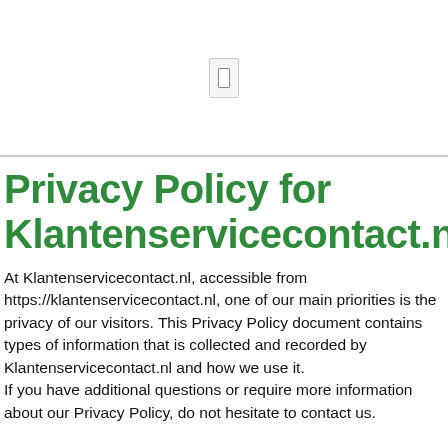[Figure (other): Small icon/symbol box centered in the top white area]
Privacy Policy for Klantenservicecontact.nl
At Klantenservicecontact.nl, accessible from https://klantenservicecontact.nl, one of our main priorities is the privacy of our visitors. This Privacy Policy document contains types of information that is collected and recorded by Klantenservicecontact.nl and how we use it. If you have additional questions or require more information about our Privacy Policy, do not hesitate to contact us.